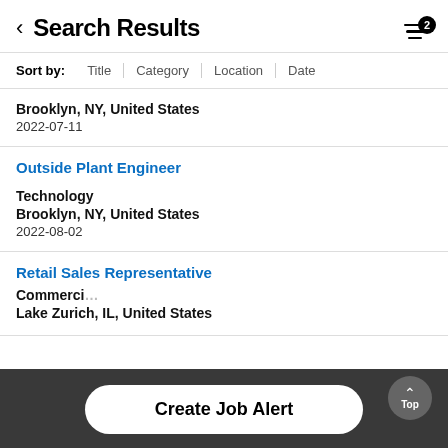Search Results
Sort by: Title | Category | Location | Date
Brooklyn, NY, United States
2022-07-11
Outside Plant Engineer
Technology
Brooklyn, NY, United States
2022-08-02
Retail Sales Representative
Commercial
Lake Zurich, IL, United States
Create Job Alert